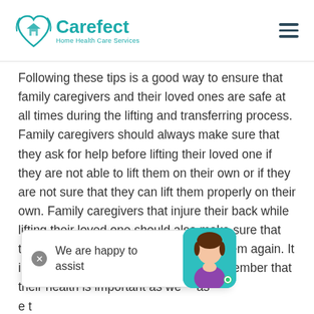Carefect Home Health Care Services
Following these tips is a good way to ensure that family caregivers and their loved ones are safe at all times during the lifting and transferring process. Family caregivers should always make sure that they ask for help before lifting their loved one if they are not able to lift them on their own or if they are not sure that they can lift them properly on their own. Family caregivers that injure their back while lifting their loved one should also make sure that they heal properly before trying to lift them again. It is important for family caregivers to remember that their health is important as well as their loved ones health they need to be in good health themselves so that they can provide their loved ones with the best possible care.
[Figure (other): Chat popup overlay with close button and text 'We are happy to assist', plus a teal avatar with a woman illustration and green online indicator dot]